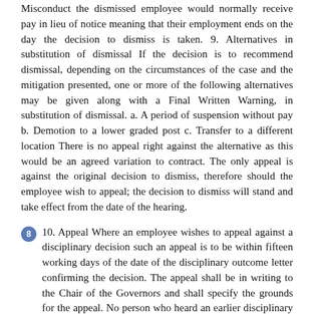Misconduct the dismissed employee would normally receive pay in lieu of notice meaning that their employment ends on the day the decision to dismiss is taken. 9. Alternatives in substitution of dismissal If the decision is to recommend dismissal, depending on the circumstances of the case and the mitigation presented, one or more of the following alternatives may be given along with a Final Written Warning, in substitution of dismissal. a. A period of suspension without pay b. Demotion to a lower graded post c. Transfer to a different location There is no appeal right against the alternative as this would be an agreed variation to contract. The only appeal is against the original decision to dismiss, therefore should the employee wish to appeal; the decision to dismiss will stand and take effect from the date of the hearing.
8  10. Appeal Where an employee wishes to appeal against a disciplinary decision such an appeal is to be within fifteen working days of the date of the disciplinary outcome letter confirming the decision. The appeal shall be in writing to the Chair of the Governors and shall specify the grounds for the appeal. No person who heard an earlier disciplinary hearing may take part in the decision at